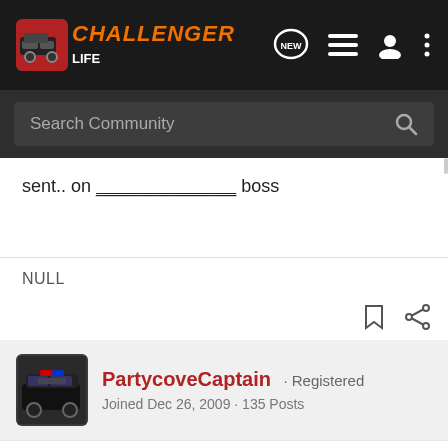[Figure (logo): Challenger Life forum logo with orange car icon and orange italic text 'CHALLENGER' with white 'LIFE' below]
sent.. on ______________ boss
NULL
PartycoveCaptain · Registered
Joined Dec 26, 2009 · 135 Posts
#4 · Feb 11, 2010